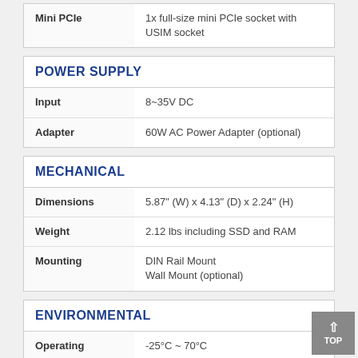| Mini PCIe | 1x full-size mini PCIe socket with USIM socket |
| POWER SUPPLY |  |
| --- | --- |
| Input | 8~35V DC |
| Adapter | 60W AC Power Adapter (optional) |
| MECHANICAL |  |
| --- | --- |
| Dimensions | 5.87" (W) x 4.13" (D) x 2.24" (H) |
| Weight | 2.12 lbs including SSD and RAM |
| Mounting | DIN Rail Mount
Wall Mount (optional) |
| ENVIRONMENTAL |  |
| --- | --- |
| Operating | -25°C ~ 70°C |